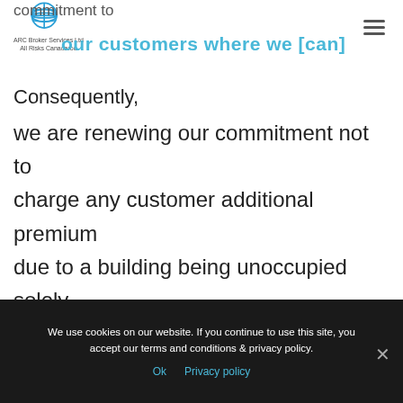ARC Broker Services Ltd — All Risks Canadaroo
commitment to our customers where we [can]
Consequently,
we are renewing our commitment not to charge any customer additional premium due to a building being unoccupied solely as a result of Government lockdown or furloughing of staff due to Covid-19. In addition, we will not normally restrict the perils insured or increase the excess unless there
We use cookies on our website. If you continue to use this site, you accept our terms and conditions & privacy policy.
Ok   Privacy policy